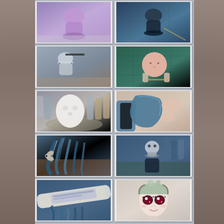[Figure (photo): A grid of 10 work-in-progress photos showing doll/figure crafting steps: purple/blue unpainted torso body forms, sculpted head pieces, face details being added, blue hair elements being shaped, assembled figure with silver collar, and a painted face with large anime-style eyes. Photos arranged in 2 columns and 5 rows against a textured grey background with dark wooden side panels.]